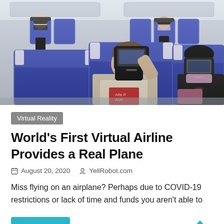[Figure (photo): People sitting in blue airline seats wearing VR headsets (Samsung Gear VR with phones) and face masks. Central figure is holding up VR headset to their face, wearing a light jacket and black face mask.]
Virtual Reality
World's First Virtual Airline Provides a Real Plane
August 20, 2020   YellRobot.com
Miss flying on an airplane? Perhaps due to COVID-19 restrictions or lack of time and funds you aren't able to
Read more